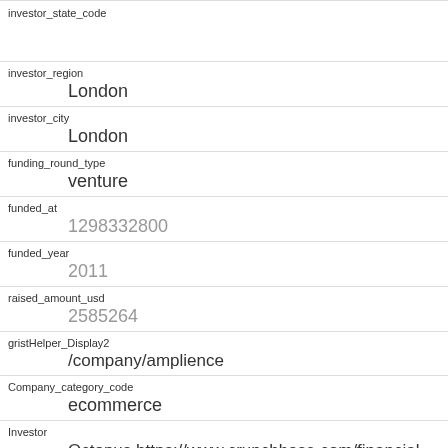| Field | Value |
| --- | --- |
| investor_state_code |  |
| investor_region | London |
| investor_city | London |
| funding_round_type | venture |
| funded_at | 1298332800 |
| funded_year | 2011 |
| raised_amount_usd | 2585264 |
| gristHelper_Display2 | /company/amplience |
| Company_category_code | ecommerce |
| Investor | Octopus https://www.crunchbase.com/financial-organization/octopus-ventures |